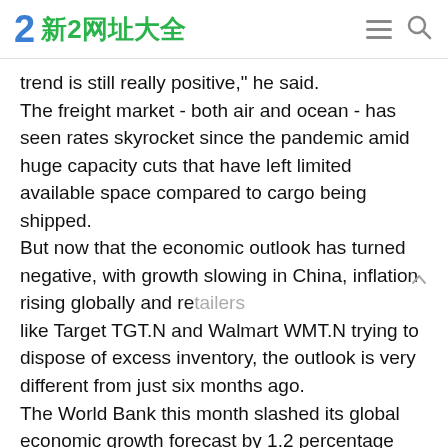2 新2网址大全
trend is still really positive," he said.
The freight market - both air and ocean - has seen rates skyrocket since the pandemic amid huge capacity cuts that have left limited available space compared to cargo being shipped.
But now that the economic outlook has turned negative, with growth slowing in China, inflation rising globally and retailers like Target TGT.N and Walmart WMT.N trying to dispose of excess inventory, the outlook is very different from just six months ago.
The World Bank this month slashed its global economic growth forecast by 1.2 percentage points to 2.9% for 2022 and warned many countries were likely to face recessions.